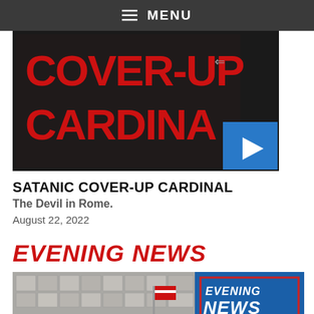☰ MENU
[Figure (screenshot): Video thumbnail showing red text 'COVER-UP CARDINAL' on dark background with blue play button in bottom right]
SATANIC COVER-UP CARDINAL
The Devil in Rome.
August 22, 2022
EVENING NEWS
[Figure (screenshot): Evening News thumbnail showing a building exterior with American flags, a red banner reading 'JESUS CHRIST IS THE KING OF DETROIT', Evening News logo in top right, and Donate button in bottom right]